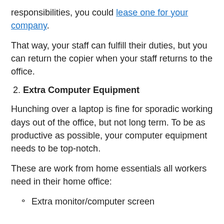responsibilities, you could lease one for your company.
That way, your staff can fulfill their duties, but you can return the copier when your staff returns to the office.
2. Extra Computer Equipment
Hunching over a laptop is fine for sporadic working days out of the office, but not long term. To be as productive as possible, your computer equipment needs to be top-notch.
These are work from home essentials all workers need in their home office:
Extra monitor/computer screen